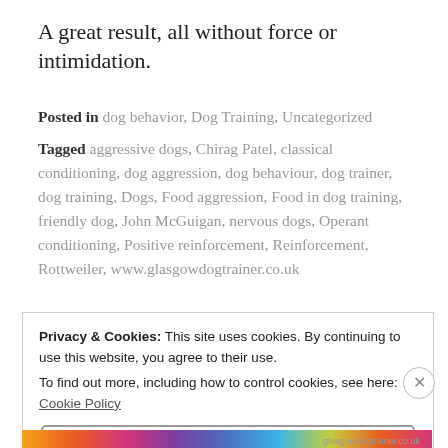A great result, all without force or intimidation.
Posted in dog behavior, Dog Training, Uncategorized
Tagged aggressive dogs, Chirag Patel, classical conditioning, dog aggression, dog behaviour, dog trainer, dog training, Dogs, Food aggression, Food in dog training, friendly dog, John McGuigan, nervous dogs, Operant conditioning, Positive reinforcement, Reinforcement, Rottweiler, www.glasgowdogtrainer.co.uk
Privacy & Cookies: This site uses cookies. By continuing to use this website, you agree to their use. To find out more, including how to control cookies, see here: Cookie Policy
Close and accept